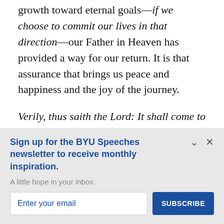growth toward eternal goals—if we choose to commit our lives in that direction—our Father in Heaven has provided a way for our return. It is that assurance that brings us peace and happiness and the joy of the journey.
Verily, thus saith the Lord: It shall come to pass that every soul who forsaketh his sins and cometh unto
Sign up for the BYU Speeches newsletter to receive monthly inspiration.
A little hope in your inbox.
Enter your email
SUBSCRIBE